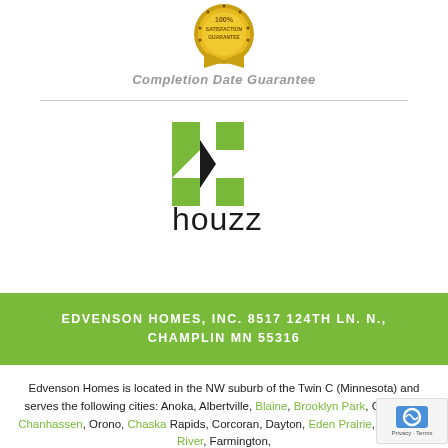[Figure (logo): 100% Satisfaction Guarantee gold badge seal at top center]
Completion Date Guarantee
[Figure (logo): Houzz logo — green stylized H shape with black triangle, lowercase 'houzz' text below]
EDVENSON HOMES, INC. 8517 124TH LN. N., CHAMPLIN MN 55316
Edvenson Homes is located in the NW suburb of the Twin C (Minnesota) and serves the following cities: Anoka, Albertville, Blaine, Brooklyn Park, Champlin, Chanhassen, Orono, Chaska Rapids, Corcoran, Dayton, Eden Prairie, Edina, Elk River, Farmington,